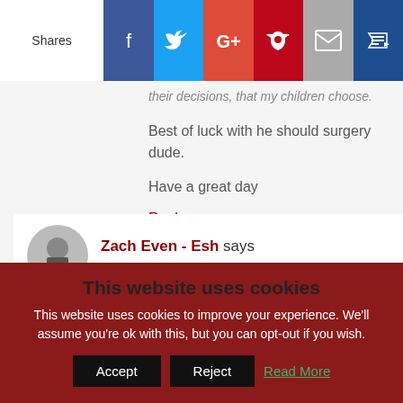[Figure (screenshot): Social share bar with Shares label and icons for Facebook, Twitter, Google+, Pinterest, Email, and an unknown platform]
their decisions, that my children choose.
Best of luck with he should surgery dude.
Have a great day
Reply
Zach Even - Esh says
This website uses cookies
This website uses cookies to improve your experience. We'll assume you're ok with this, but you can opt-out if you wish.
Accept  Reject  Read More